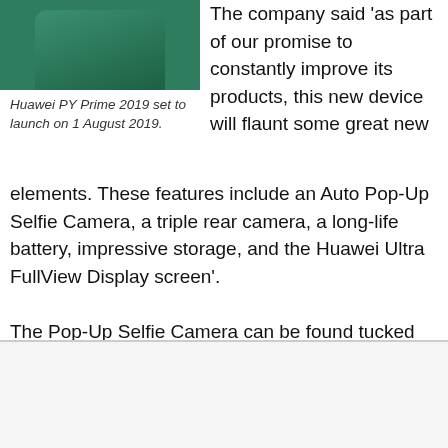[Figure (photo): Huawei PY Prime 2019 smartphone shown at top-left corner, green/teal colored device]
Huawei PY Prime 2019 set to launch on 1 August 2019.
The company said 'as part of our promise to constantly improve its products, this new device will flaunt some great new elements. These features include an Auto Pop-Up Selfie Camera, a triple rear camera, a long-life battery, impressive storage, and the Huawei Ultra FullView Display screen'.
The Pop-Up Selfie Camera can be found tucked away neatly
We use cookies on our website to give you the most relevant experience by remembering your preferences and repeat visits. By clicking "Accept All", you consent to the use of ALL the cookies. However, you may visit "Cookie Settings" to provide a controlled consent.